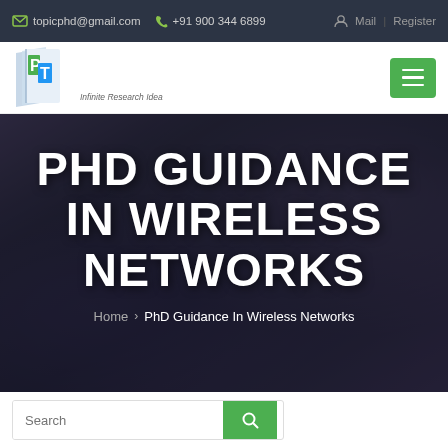topicphd@gmail.com   +91 900 344 6899   Mail  |  Register
[Figure (logo): PT Infinite Research Idea logo with stylized P and T letters on book pages]
PHD GUIDANCE IN WIRELESS NETWORKS
Home > PhD Guidance In Wireless Networks
Search